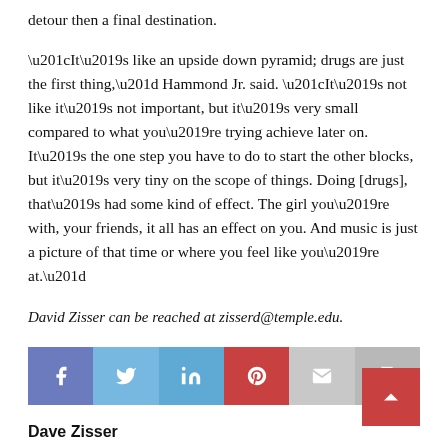detour then a final destination.
“It’s like an upside down pyramid; drugs are just the first thing,” Hammond Jr. said. “It’s not like it’s not important, but it’s very small compared to what you’re trying achieve later on. It’s the one step you have to do to start the other blocks, but it’s very tiny on the scope of things. Doing [drugs], that’s had some kind of effect. The girl you’re with, your friends, it all has an effect on you. And music is just a picture of that time or where you feel like you’re at.”
David Zisser can be reached at zisserd@temple.edu.
[Figure (other): Social sharing buttons: Facebook, Twitter, LinkedIn, Pinterest, Email, Print]
Dave Zisser
« PREVIOUS
To help boost attendance, a new home for baseball